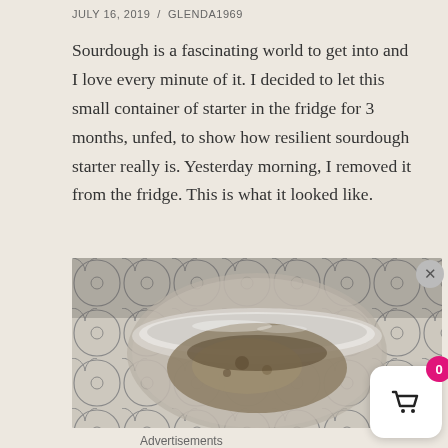JULY 16, 2019  /  GLENDA1969
Sourdough is a fascinating world to get into and I love every minute of it. I decided to let this small container of starter in the fridge for 3 months, unfed, to show how resilient sourdough starter really is. Yesterday morning, I removed it from the fridge. This is what it looked like.
[Figure (photo): Top-down close-up photo of a glass jar containing sourdough starter, sitting on a decorative tile or paper surface with a gray and white geometric/floral pattern.]
Advertisements